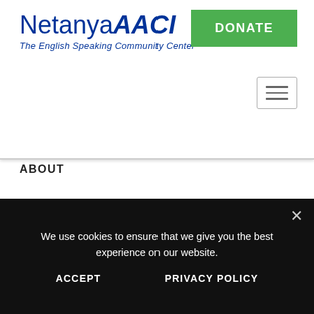[Figure (logo): Netanya AACI logo with tagline 'The English Speaking Community Center']
[Figure (other): Green DONATE button]
[Figure (other): Hamburger menu icon]
ABOUT
About
Director's message
Co-chairs message
Elections for Netanya AACI
We use cookies to ensure that we give you the best experience on our website.
ACCEPT
PRIVACY POLICY